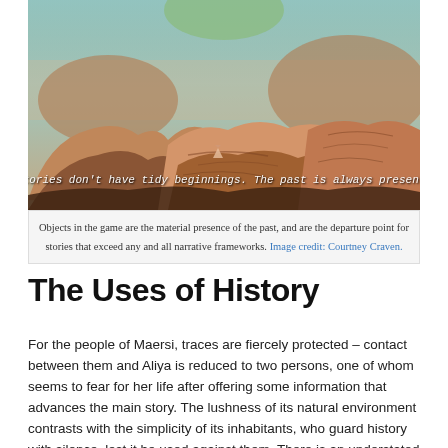[Figure (illustration): A dramatic desert canyon landscape with layered sandstone rock formations in warm orange and brown tones, with a misty atmospheric sky in blue-green. An overlaid italic text reads: Stories don't have tidy beginnings. The past is always present.]
Objects in the game are the material presence of the past, and are the departure point for stories that exceed any and all narrative frameworks. Image credit: Courtney Craven.
The Uses of History
For the people of Maersi, traces are fiercely protected – contact between them and Aliya is reduced to two persons, one of whom seems to fear for her life after offering some information that advances the main story. The lushness of its natural environment contrasts with the simplicity of its inhabitants, who guard history with silence, lest it be used against them. There is an understated distrust